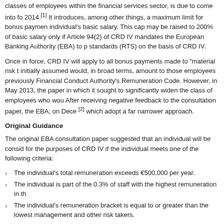classes of employees within the financial services sector, is due to come into force in 2014.[1] It introduces, among other things, a maximum limit for bonus payments of 100% of an individual's basic salary. This cap may be raised to 200% of basic salary only if shareholders approve. Article 94(2) of CRD IV mandates the European Banking Authority (EBA) to produce regulatory technical standards (RTS) on the basis of CRD IV.
Once in force, CRD IV will apply to all bonus payments made to "material risk takers". It was initially assumed would, in broad terms, amount to those employees previously subject to the Financial Conduct Authority's Remuneration Code. However, in May 2013, the EBA published a consultation paper in which it sought to significantly widen the class of employees who would be captured. After receiving negative feedback to the consultation paper, the EBA, on December 2013, published RTS [2] which adopt a far narrower approach.
Original Guidance
The original EBA consultation paper suggested that an individual will be considered a material risk taker for the purposes of CRD IV if the individual meets one of the following criteria:
The individual's total remuneration exceeds €500,000 per year.
The individual is part of the 0.3% of staff with the highest remuneration in the institution.
The individual's remuneration bracket is equal to or greater than the lowest remuneration of senior management and other risk takers.
The individual's bonus payments exceed €75,000 or 75% of the fixed component of total remuneration.
New Guidance